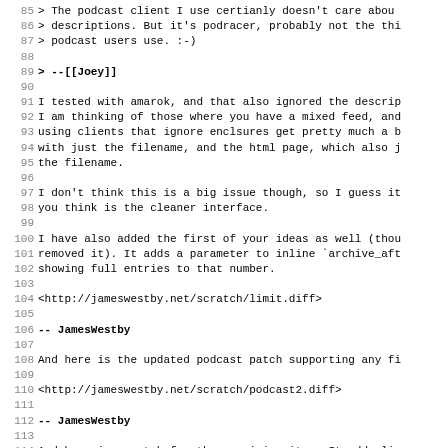85 > The podcast client I use certianly doesn't care about
86 > descriptions. But it's podracer, probably not the thing most
87 > podcast users use. :-)
88
89 > --[[Joey]]
90
91 I tested with amarok, and that also ignored the description.
92 I am thinking of those where you have a mixed feed, and
93 using clients that ignore enclosures get pretty much a blank
94 with just the filename, and the html page, which also just shows
95 the filename.
96
97 I don't think this is a big issue though, so I guess it's
98 you think is the cleaner interface.
99
100 I have also added the first of your ideas as well (though I
101 removed it). It adds a parameter to inline `archive_after`
102 showing full entries to that number.
103
104 <http://jameswestby.net/scratch/limit.diff>
105
106 -- JamesWestby
107
108 And here is the updated podcast patch supporting any filename
109
110 <http://jameswestby.net/scratch/podcast2.diff>
111
112 -- JamesWestby
113
114 And here is a patch for the remaining item. It adds links for
115 inlined entries for edit and discuss (if they are enabled) and
116 links for edit if the filetype is not known.
117